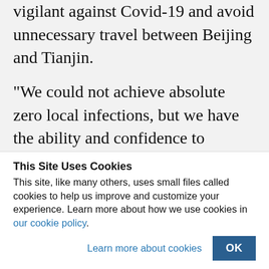vigilant against Covid-19 and avoid unnecessary travel between Beijing and Tianjin.
“We could not achieve absolute zero local infections, but we have the ability and confidence to quickly contain the virus whenever there are outbreaks,” Liang Wannian, deputy director of Beijing’s health bureau said, stressing that China’s
This Site Uses Cookies
This site, like many others, uses small files called cookies to help us improve and customize your experience. Learn more about how we use cookies in our cookie policy.
Learn more about cookies
OK